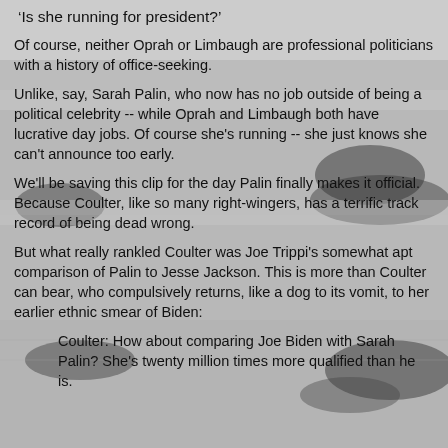'Is she running for president?'
Of course, neither Oprah or Limbaugh are professional politicians with a history of office-seeking.
Unlike, say, Sarah Palin, who now has no job outside of being a political celebrity -- while Oprah and Limbaugh both have lucrative day jobs. Of course she's running -- she just knows she can't announce too early.
We'll be saving this clip for the day Palin finally makes it official. Because Coulter, like so many right-wingers, has a terrific track record of being dead wrong.
But what really rankled Coulter was Joe Trippi's somewhat apt comparison of Palin to Jesse Jackson. This is more than Coulter can bear, who compulsively returns, like a dog to its vomit, to her earlier ethnic smear of Biden:
Coulter: How about comparing Joe Biden with Sarah Palin? She's twenty million times more qualified than he is.